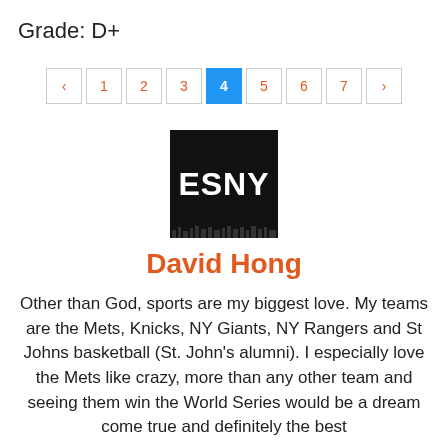Grade: D+
[Figure (other): Pagination control showing pages 1-7 with page 4 highlighted in blue, and previous/next arrows]
[Figure (logo): ESNY logo - black square with white bold text 'ESNY' and city skyline silhouette at bottom]
David Hong
Other than God, sports are my biggest love. My teams are the Mets, Knicks, NY Giants, NY Rangers and St Johns basketball (St. John's alumni). I especially love the Mets like crazy, more than any other team and seeing them win the World Series would be a dream come true and definitely the best